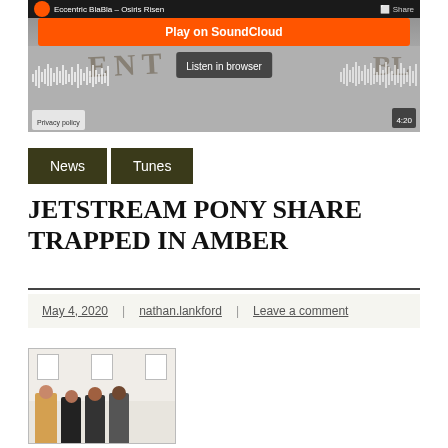[Figure (screenshot): SoundCloud embedded player widget showing 'Eccentric BlaBla – Osiris Risen' with an orange 'Play on SoundCloud' button, a grey 'Listen in browser' button, waveform visualization, and duration 4:20. A 'Privacy policy' label is visible at bottom left. Background shows stylized letters in snow or sand.]
News
Tunes
JETSTREAM PONY SHARE TRAPPED IN AMBER
May 4, 2020  |  nathan.lankford  |  Leave a comment
[Figure (photo): Photo showing four people standing in front of a white wall with framed artwork displayed on it.]